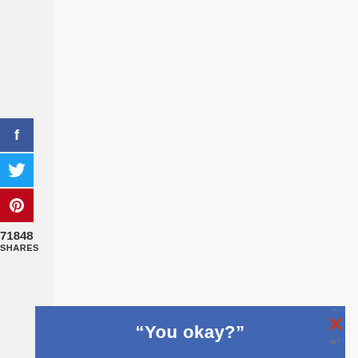[Figure (photo): Dark navy/black textured banner image at top of page]
[Figure (infographic): Social share sidebar with Facebook (blue), Twitter (cyan), and Pinterest (red) buttons]
71848
SHARES
[Figure (screenshot): Large white/light gray content area (article body, mostly blank in this view)]
“You okay?”